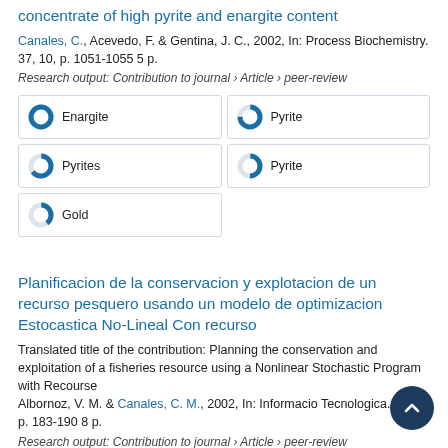concentrate of high pyrite and enargite content
Canales, C., Acevedo, F. & Gentina, J. C., 2002, In: Process Biochemistry. 37, 10, p. 1051-1055 5 p.
Research output: Contribution to journal › Article › peer-review
[Figure (infographic): Keyword badges with donut/pie icons showing percentage fill: Enargite (100%), Pyrite (75%), Pyrites (65%), Pyrite (50%), Gold (40%)]
Planificacion de la conservacion y explotacion de un recurso pesquero usando un modelo de optimizacion Estocastica No-Lineal Con recurso
Translated title of the contribution: Planning the conservation and exploitation of a fisheries resource using a Nonlinear Stochastic Program with Recourse
Albornoz, V. M. & Canales, C. M., 2002, In: Informacio Tecnologica. 13, 4, p. 183-190 8 p.
Research output: Contribution to journal › Article › peer-review